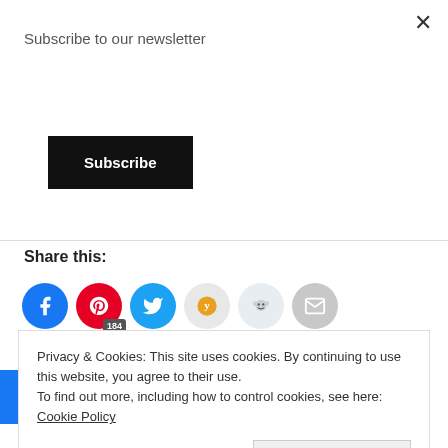Subscribe to our newsletter
Subscribe
[Figure (photo): Food photo showing nuts/macadamia on white surface with red patterned cloth on the edges]
Share this:
[Figure (infographic): Social sharing icons row: Facebook, Pinterest (184 saves), Twitter, Yummly, Reddit, Email]
Like this:
Privacy & Cookies: This site uses cookies. By continuing to use this website, you agree to their use.
To find out more, including how to control cookies, see here: Cookie Policy
Close and accept
[Figure (infographic): Bottom social share bar with icons: Facebook, Pinterest, Twitter, Yummly, Email, More (plus icon)]